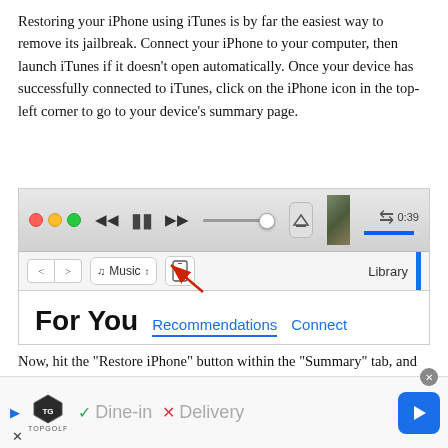Restoring your iPhone using iTunes is by far the easiest way to remove its jailbreak. Connect your iPhone to your computer, then launch iTunes if it doesn't open automatically. Once your device has successfully connected to iTunes, click on the iPhone icon in the top-left corner to go to your device's summary page.
[Figure (screenshot): iTunes application window screenshot showing the top playback bar with traffic light buttons, playback controls, progress slider, AirPlay button, album art, time display, and a navigation bar below with back/forward arrows, Music dropdown, iPhone icon (with red arrow pointing to it), and Library label with blue sidebar.]
Now, hit the "Restore iPhone" button within the "Summary" tab, and follow the prompts that appear. Your device will now go
[Figure (screenshot): Advertisement banner for TopGolf showing a play button, TopGolf shield logo, checkmark with 'Dine-in', X with 'Delivery', a close button, and a blue navigation arrow button.]